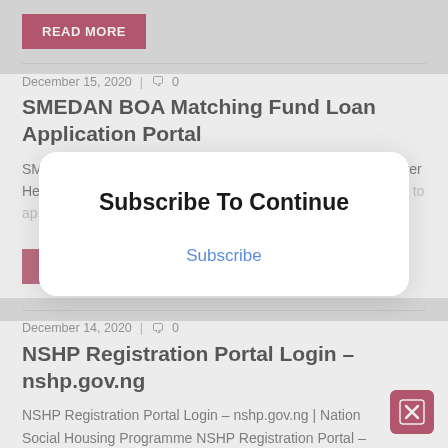READ MORE
December 15, 2020  |  🗨 0
SMEDAN BOA Matching Fund Loan Application Portal
SMEDAN BOA Matching Fund Loan Application Portal | Register Here SMEDAN BOA Matching Fund Loan 2020 – Do you want to ap...
READ MORE
[Figure (screenshot): Subscribe To Continue modal dialog with a 'Subscribe' button in blue text]
December 14, 2020  |  🗨 0
NSHP Registration Portal Login – nshp.gov.ng
NSHP Registration Portal Login – nshp.gov.ng | National Social Housing Programme NSHP Registration Portal –